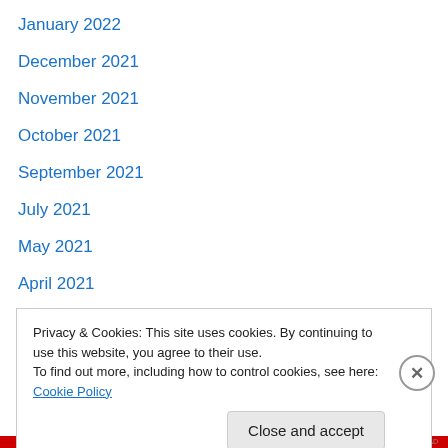January 2022
December 2021
November 2021
October 2021
September 2021
July 2021
May 2021
April 2021
February 2021
January 2021
August 2020
July 2020
May 2020
Privacy & Cookies: This site uses cookies. By continuing to use this website, you agree to their use.
To find out more, including how to control cookies, see here: Cookie Policy
Close and accept